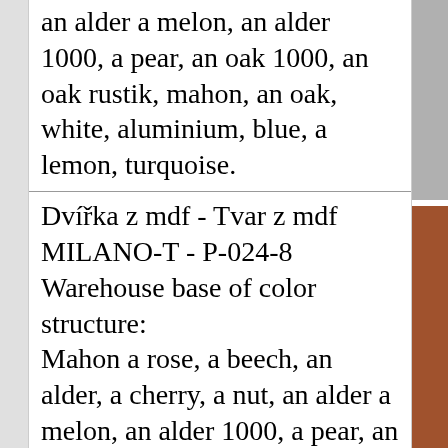an alder a melon, an alder 1000, a pear, an oak 1000, an oak rustik, mahon, an oak, white, aluminium, blue, a lemon, turquoise.
Dvířka z mdf - Tvar z mdf MILANO-T - P-024-8 Warehouse base of color structure: Mahon a rose, a beech, an alder, a cherry, a nut, an alder a melon, an alder 1000, a pear, an oak